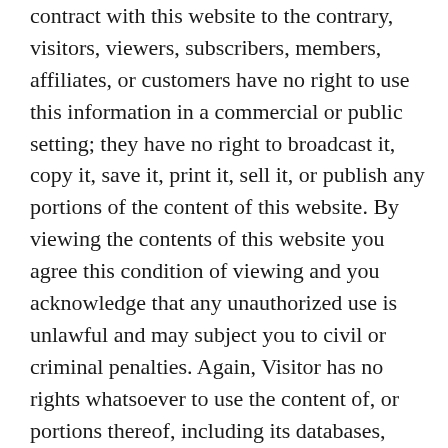contract with this website to the contrary, visitors, viewers, subscribers, members, affiliates, or customers have no right to use this information in a commercial or public setting; they have no right to broadcast it, copy it, save it, print it, sell it, or publish any portions of the content of this website. By viewing the contents of this website you agree this condition of viewing and you acknowledge that any unauthorized use is unlawful and may subject you to civil or criminal penalties. Again, Visitor has no rights whatsoever to use the content of, or portions thereof, including its databases, invisible pages, linked pages, underlying code, or other intellectual property the site may contain, for any reason for any use whatsoever. Nothing. Visitor agrees to liquidate damages in the amount of U.S. $100,000 in addition to costs and actual damages for breach of this provision. Visitor warrants that he or she understands that accepting this provision is a condition of viewing